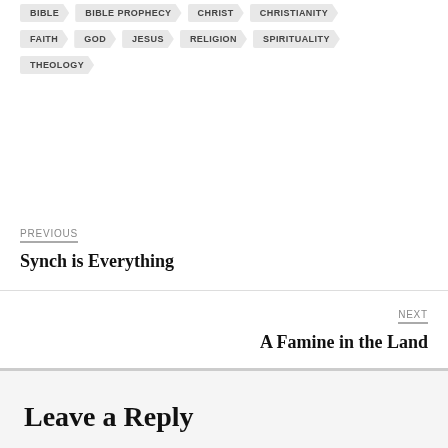BIBLE  BIBLE PROPHECY  CHRIST  CHRISTIANITY
FAITH  GOD  JESUS  RELIGION  SPIRITUALITY
THEOLOGY
PREVIOUS
Synch is Everything
NEXT
A Famine in the Land
Leave a Reply